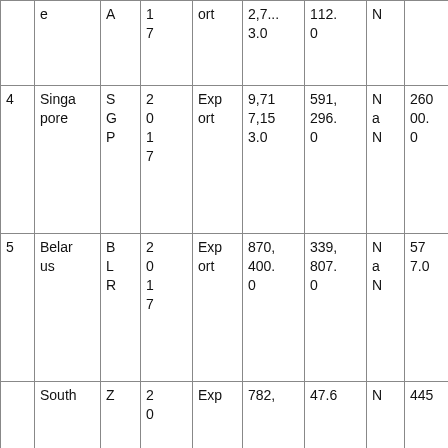|  | e | A | 1
7 | ort | 2,7...
3.0 | 112.
0 | N |  | 13 |
| 4 | Singapore | S
G
P | 2
0
1
7 | Export | 9,71
7,15
3.0 | 591,
296.
0 | N
a
N | 26
00.
0 | 16.
43 |
| 5 | Belarus | B
L
R | 2
0
1
7 | Export | 870,
400.
0 | 339,
807.
0 | N
a
N | 57
7.0 | 2.5
6 |
|  | South... | Z
0 | 2
0 | Exp... | 782, | 47.6 | N | 445 | 16... |